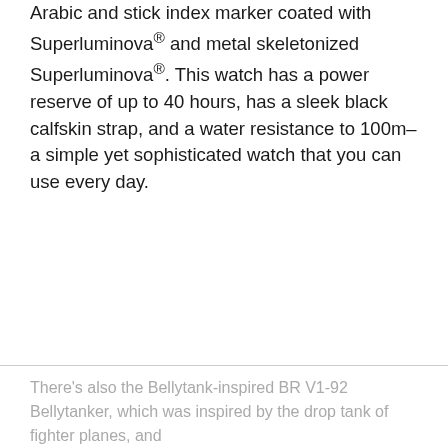Arabic and stick index marker coated with Superluminova® and metal skeletonized Superluminova®. This watch has a power reserve of up to 40 hours, has a sleek black calfskin strap, and a water resistance to 100m–a simple yet sophisticated watch that you can use every day.
There's also the Bellytank-inspired BR V1-92 Bellytanker, which was inspired by the drop tank of fighter planes, and